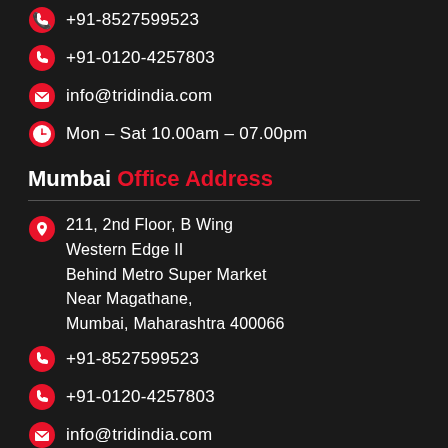+91-8527599523
+91-0120-4257803
info@tridindia.com
Mon – Sat 10.00am – 07.00pm
Mumbai Office Address
211, 2nd Floor, B Wing
Western Edge II
Behind Metro Super Market
Near Magathane,
Mumbai, Maharashtra 400066
+91-8527599523
+91-0120-4257803
info@tridindia.com